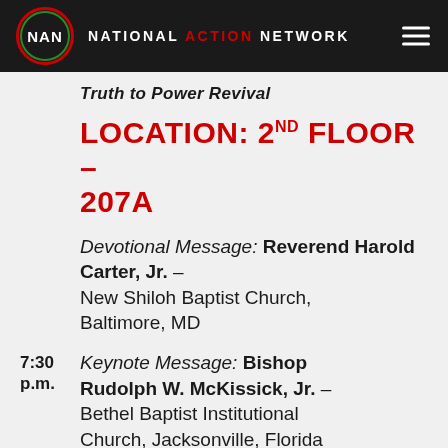NAN NATIONAL ACTION NETWORK
Truth to Power Revival
LOCATION: 2ND FLOOR – 207A
Devotional Message: Reverend Harold Carter, Jr. – New Shiloh Baptist Church, Baltimore, MD
7:30 p.m. Keynote Message: Bishop Rudolph W. McKissick, Jr. – Bethel Baptist Institutional Church, Jacksonville, Florida